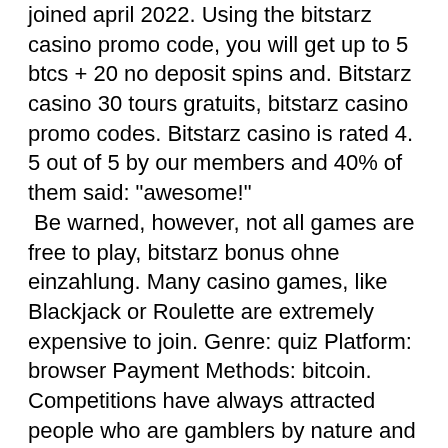joined april 2022. Using the bitstarz casino promo code, you will get up to 5 btcs + 20 no deposit spins and. Bitstarz casino 30 tours gratuits, bitstarz casino promo codes. Bitstarz casino is rated 4. 5 out of 5 by our members and 40% of them said: &quot;awesome!&quot;
 Be warned, however, not all games are free to play, bitstarz bonus ohne einzahlung. Many casino games, like Blackjack or Roulette are extremely expensive to join. Genre: quiz Platform: browser Payment Methods: bitcoin. Competitions have always attracted people who are gamblers by nature and Quiz BTC is a game developed for such players, bitstarz promo code june 2021. Enjoying your favorite game with Bitcoinwith Bitcoin will only take you a couple minutes. The gaming is one of the most abundant thing currently been up for, промокод в bitstarz casino. If you love gaming, you should also check out our review of the most